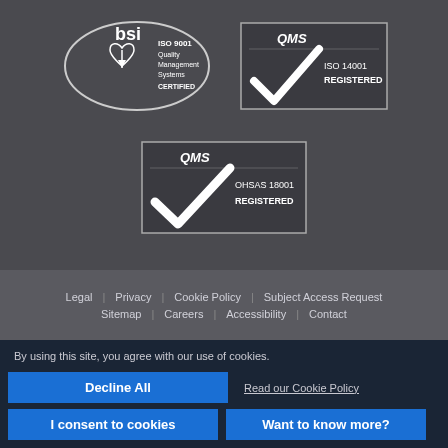[Figure (logo): BSI ISO 9001 Quality Management Systems Certified logo — white circular badge with heart/compass icon]
[Figure (logo): QMS ISO 14001 Registered logo — dark rectangle with QMS text and checkmark]
[Figure (logo): QMS OHSAS 18001 Registered logo — dark rectangle with QMS text and checkmark]
Legal | Privacy | Cookie Policy | Subject Access Request | Sitemap | Careers | Accessibility | Contact
By using this site, you agree with our use of cookies.
Decline All
Read our Cookie Policy
I consent to cookies
Want to know more?